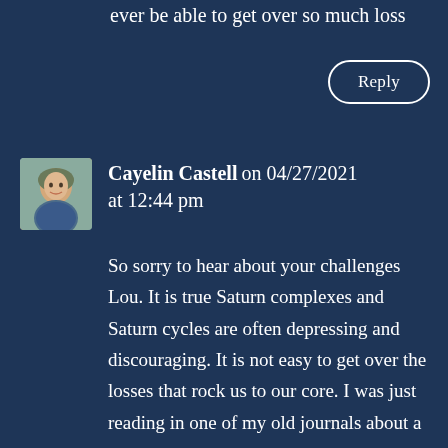ever be able to get over so much loss
Reply
Cayelin Castell on 04/27/2021 at 12:44 pm
So sorry to hear about your challenges Lou. It is true Saturn complexes and Saturn cycles are often depressing and discouraging. It is not easy to get over the losses that rock us to our core. I was just reading in one of my old journals about a